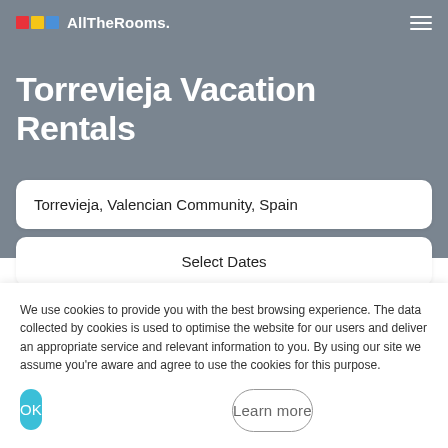AllTheRooms.
Torrevieja Vacation Rentals
Torrevieja, Valencian Community, Spain
Select Dates
2 Guests
1 Room
We use cookies to provide you with the best browsing experience. The data collected by cookies is used to optimise the website for our users and deliver an appropriate service and relevant information to you. By using our site we assume you're aware and agree to use the cookies for this purpose.
OK
Learn more